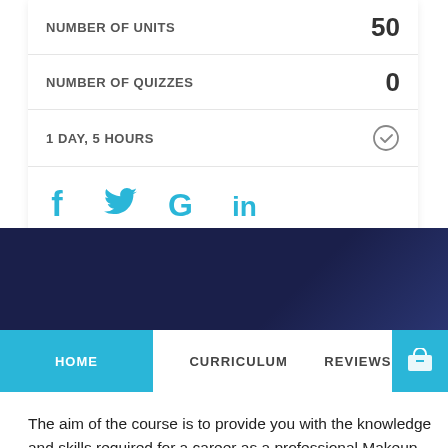| Label | Value |
| --- | --- |
| NUMBER OF UNITS | 50 |
| NUMBER OF QUIZZES | 0 |
| 1 DAY, 5 HOURS | ⏱ |
[Figure (infographic): Social sharing icons: Facebook (f), Twitter bird, Google (G), LinkedIn (in) in blue]
[Figure (screenshot): Dark navy blue diagonal background band]
HOME   CURRICULUM   REVIEWS
The aim of the course is to provide you with the knowledge and skills required for a career as a professional Makeup Artist or as a keen hobbyist. The [course_title] is designed to teach you a lot of amazing techniques that will help you begin a successful career in this unique and exciting industry. In this course you'll learn everything you need to